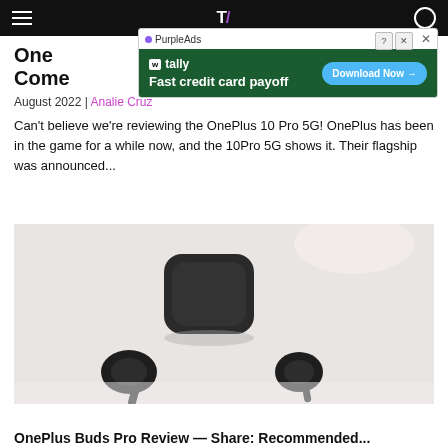Navigation bar with hamburger menu, site logo, and search icon
[Figure (screenshot): Advertisement overlay from PurpleAds showing Tally app ad: 'Fast credit card payoff' with Download Now button on green background]
OnePlus Buds Pro Review — Complete Flagship Experience
August 2022 | Analie Cruz
Can't believe we're reviewing the OnePlus 10 Pro 5G! OnePlus has been in the game for a while now, and the 10Pro 5G shows it. Their flagship was announced...
[Figure (photo): Photo of OnePlus earbuds and charging case on a white surface, showing two black wireless earbuds and a rounded square black charging case]
OnePlus Buds Pro Review — Share: Recommended...